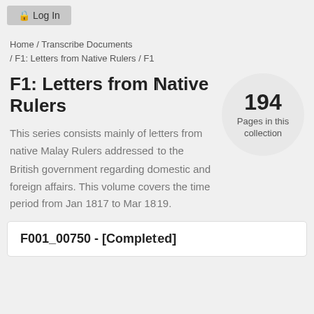🔒 Log In
Home / Transcribe Documents / F1: Letters from Native Rulers / F1
F1: Letters from Native Rulers
194
Pages in this collection
This series consists mainly of letters from native Malay Rulers addressed to the British government regarding domestic and foreign affairs. This volume covers the time period from Jan 1817 to Mar 1819.
F001_00750 - [Completed]